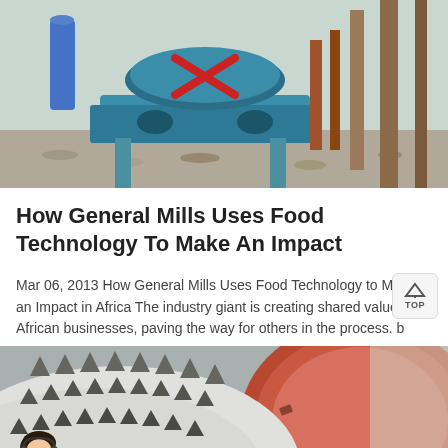[Figure (photo): Industrial machinery photo showing a teal/blue heavy mill or grinding machine on a gravel surface with steel structures]
How General Mills Uses Food Technology To Make An Impact
Mar 06, 2013 How General Mills Uses Food Technology to Make an Impact in Africa The industry giant is creating shared value with African businesses, paving the way for others in the process. b
[Figure (photo): Close-up photo of large industrial grinding mill teeth/gears, showing serrated metal components in red and white/grey]
[Figure (photo): Customer service agent chat bar with orange buttons for Message and Online Chat, with avatar of woman with headset]